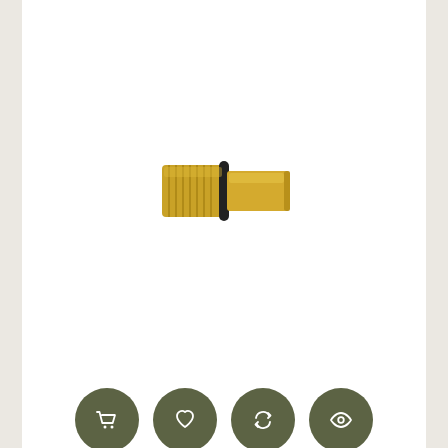[Figure (photo): A brass KP-07 filling valve component with black O-ring, cylindrical shape with threaded section and smooth tube end, photographed on white background.]
[Figure (infographic): Four dark olive green circular icon buttons in a row: shopping cart, heart/wishlist, refresh/compare, and eye/view icons.]
KP-07 Filling Valve [KJ Works]
2,30 €